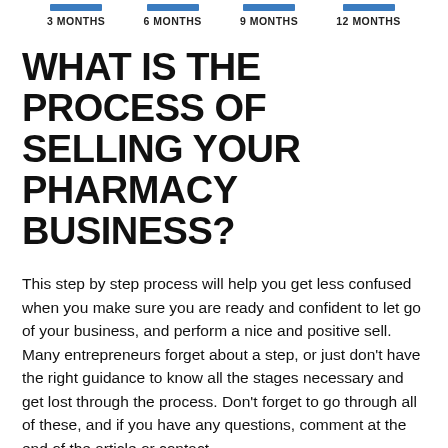3 MONTHS  6 MONTHS  9 MONTHS  12 MONTHS
WHAT IS THE PROCESS OF SELLING YOUR PHARMACY BUSINESS?
This step by step process will help you get less confused when you make sure you are ready and confident to let go of your business, and perform a nice and positive sell. Many entrepreneurs forget about a step, or just don't have the right guidance to know all the stages necessary and get lost through the process. Don't forget to go through all of these, and if you have any questions, comment at the end of the article or contact